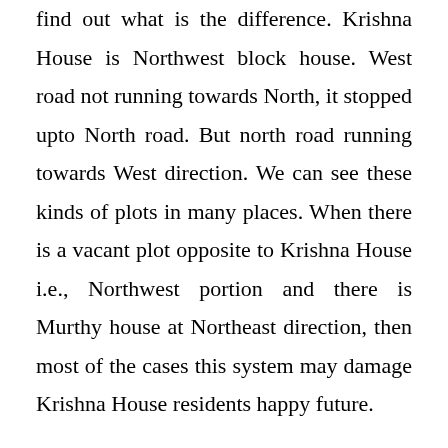find out what is the difference. Krishna House is Northwest block house. West road not running towards North, it stopped upto North road. But north road running towards West direction. We can see these kinds of plots in many places. When there is a vacant plot opposite to Krishna House i.e., Northwest portion and there is Murthy house at Northeast direction, then most of the cases this system may damage Krishna House residents happy future.